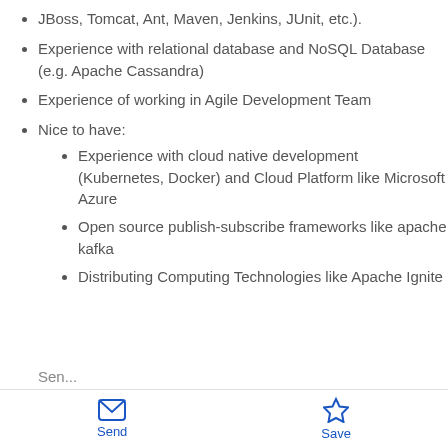JBoss, Tomcat, Ant, Maven, Jenkins, JUnit, etc.).
Experience with relational database and NoSQL Database (e.g. Apache Cassandra)
Experience of working in Agile Development Team
Nice to have:
Experience with cloud native development (Kubernetes, Docker) and Cloud Platform like Microsoft Azure
Open source publish-subscribe frameworks like apache kafka
Distributing Computing Technologies like Apache Ignite
Send   Save